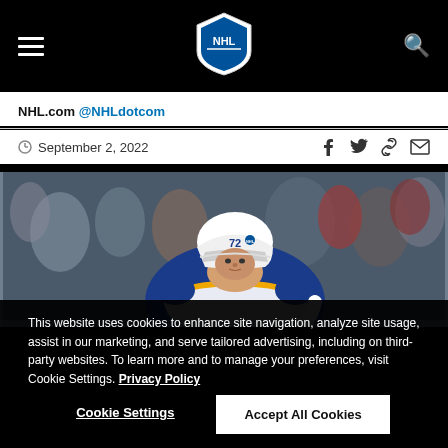NHL.com navigation bar with hamburger menu, NHL logo, and search icon
NHL.com @NHLdotcom
September 2, 2022
[Figure (photo): Hockey player wearing number 72 in a blue Buffalo Sabres jersey and white helmet, leaning forward on ice with crowd in background]
This website uses cookies to enhance site navigation, analyze site usage, assist in our marketing, and serve tailored advertising, including on third-party websites. To learn more and to manage your preferences, visit Cookie Settings. Privacy Policy
Cookie Settings
Accept All Cookies